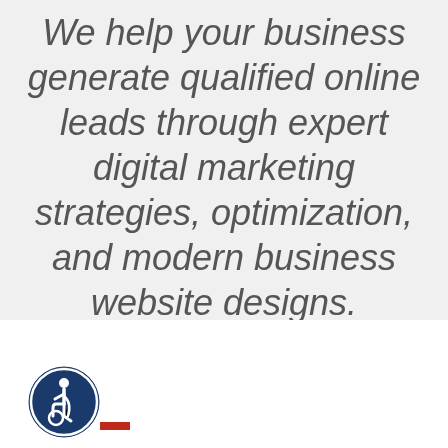We help your business generate qualified online leads through expert digital marketing strategies, optimization, and modern business website designs.
[Figure (logo): Accessibility icon: circular dark blue badge with white wheelchair user symbol in center]